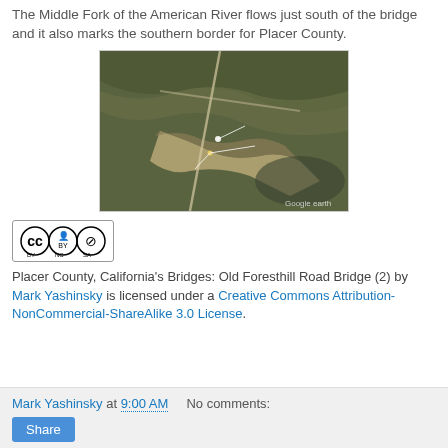The Middle Fork of the American River flows just south of the bridge and it also marks the southern border for Placer County.
[Figure (photo): Satellite/aerial Google Earth image showing a river valley with a bridge over the Middle Fork of the American River, with terrain and roads visible.]
[Figure (logo): Creative Commons BY NC SA license badge]
Placer County, California's Bridges: Old Foresthill Road Bridge (2) by Mark Yashinsky is licensed under a Creative Commons Attribution-NonCommercial-ShareAlike 3.0 License.
Mark Yashinsky at 9:00 AM   No comments:   Share